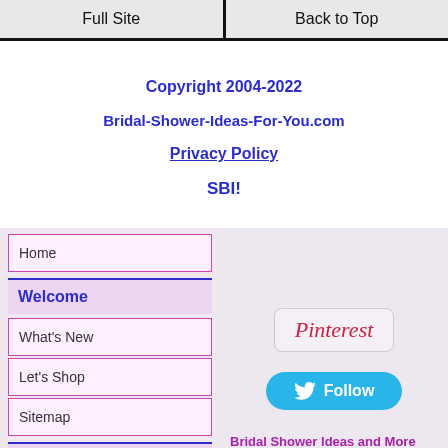Full Site | Back to Top
Copyright 2004-2022
Bridal-Shower-Ideas-For-You.com
Privacy Policy
SBI!
Home
Welcome
What's New
Let's Shop
Sitemap
Party Basics
[Figure (logo): Pinterest logo button]
[Figure (logo): Twitter Follow button]
Bridal Shower Ideas and More Newsletter is our